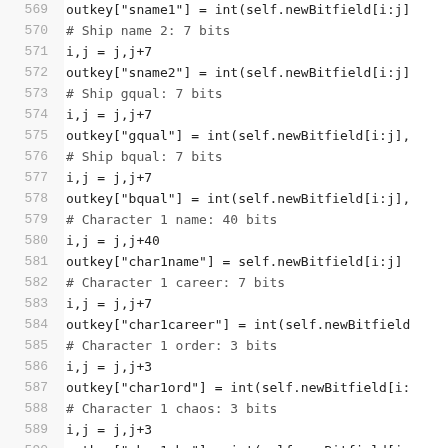Code listing lines 569–591 showing Python bitfield parsing code
569: outkey["sname1"] = int(self.newBitfield[i:j]
570: # Ship name 2: 7 bits
571: i,j = j,j+7
572: outkey["sname2"] = int(self.newBitfield[i:j]
573: # Ship gqual: 7 bits
574: i,j = j,j+7
575: outkey["gqual"] = int(self.newBitfield[i:j],
576: # Ship bqual: 7 bits
577: i,j = j,j+7
578: outkey["bqual"] = int(self.newBitfield[i:j],
579: # Character 1 name: 40 bits
580: i,j = j,j+40
581: outkey["char1name"] = self.newBitfield[i:j]
582: # Character 1 career: 7 bits
583: i,j = j,j+7
584: outkey["char1career"] = int(self.newBitfield
585: # Character 1 order: 3 bits
586: i,j = j,j+3
587: outkey["char1ord"] = int(self.newBitfield[i:
588: # Character 1 chaos: 3 bits
589: i,j = j,j+3
590: outkey["char1cha"] = int(self.newBitfield[i:
591: # Character 1 body: 3 bits